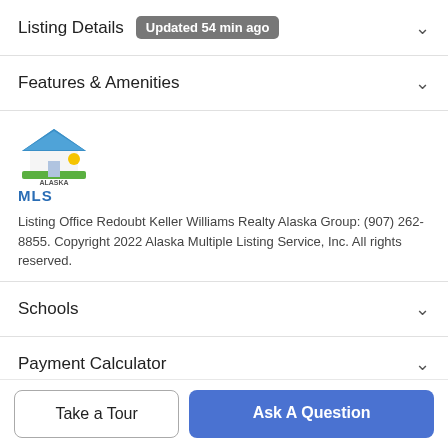Listing Details Updated 54 min ago
Features & Amenities
[Figure (logo): Alaska MLS logo — house icon with green/blue/yellow colors, text ALASKA MLS below]
Listing Office Redoubt Keller Williams Realty Alaska Group: (907) 262-8855. Copyright 2022 Alaska Multiple Listing Service, Inc. All rights reserved.
Schools
Payment Calculator
Contact Agent
Take a Tour
Ask A Question